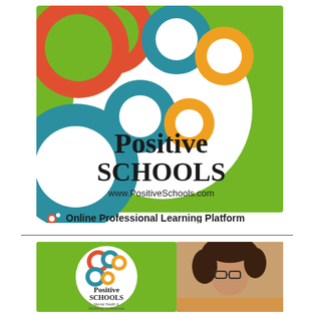[Figure (logo): Positive Schools logo on green background with colorful rings (red, teal, orange), large white circle containing text 'Positive SCHOOLS www.PositiveSchools.com', and tagline 'Online Professional Learning Platform' at the bottom]
[Figure (logo): Positive Schools logo smaller version on green background with colorful rings (red, teal, orange), white circle containing text 'Positive SCHOOLS Mental Health & Wellbeing Conferences', next to a photo of a young woman with curly hair and glasses]